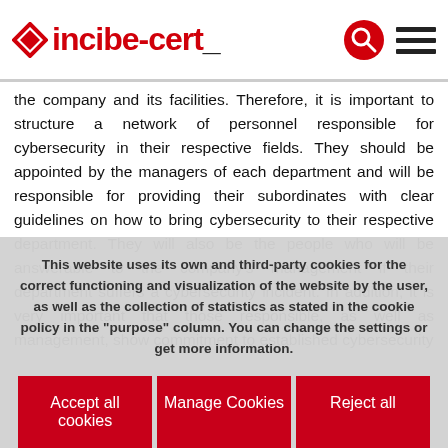incibe-cert_
the company and its facilities. Therefore, it is important to structure a network of personnel responsible for cybersecurity in their respective fields. They should be appointed by the managers of each department and will be responsible for providing their subordinates with clear guidelines on how to bring cybersecurity to their respective department. They will also be the people who will be answerable to the company's management if their department suffers a cybersecurity incident. In addition, it is very important that those responsible, as well as management, show commitment to established cybersecurity
This website uses its own and third-party cookies for the correct functioning and visualization of the website by the user, as well as the collection of statistics as stated in the cookie policy in the "purpose" column. You can change the settings or get more information.
Accept all cookies
Manage Cookies
Reject all